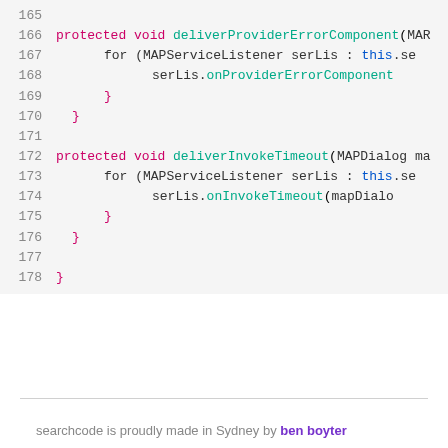[Figure (screenshot): Source code viewer showing Java code lines 165-178 with syntax highlighting. Lines show protected void methods: deliverProviderErrorComponent and deliverInvokeTimeout, with for-each loops over MAPServiceListener.]
searchcode is proudly made in Sydney by ben boyter